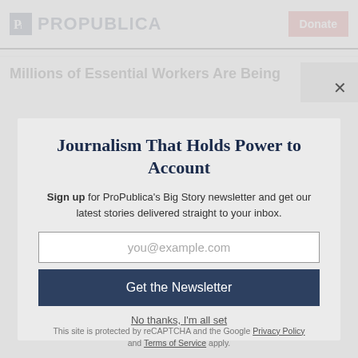ProPublica | Donate
Millions of Essential Workers Are Being
Journalism That Holds Power to Account
Sign up for ProPublica's Big Story newsletter and get our latest stories delivered straight to your inbox.
you@example.com
Get the Newsletter
No thanks, I'm all set
This site is protected by reCAPTCHA and the Google Privacy Policy and Terms of Service apply.